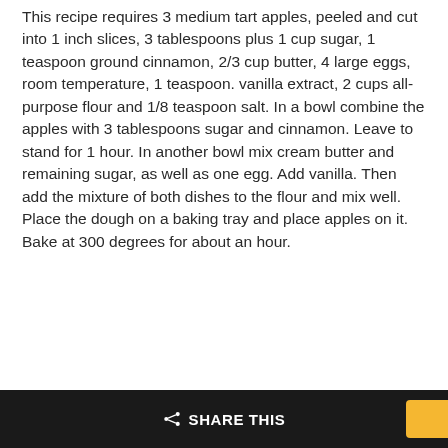This recipe requires 3 medium tart apples, peeled and cut into 1 inch slices, 3 tablespoons plus 1 cup sugar, 1 teaspoon ground cinnamon, 2/3 cup butter, 4 large eggs, room temperature, 1 teaspoon. vanilla extract, 2 cups all-purpose flour and 1/8 teaspoon salt. In a bowl combine the apples with 3 tablespoons sugar and cinnamon. Leave to stand for 1 hour. In another bowl mix cream butter and remaining sugar, as well as one egg. Add vanilla. Then add the mixture of both dishes to the flour and mix well. Place the dough on a baking tray and place apples on it. Bake at 300 degrees for about an hour.
SHARE THIS